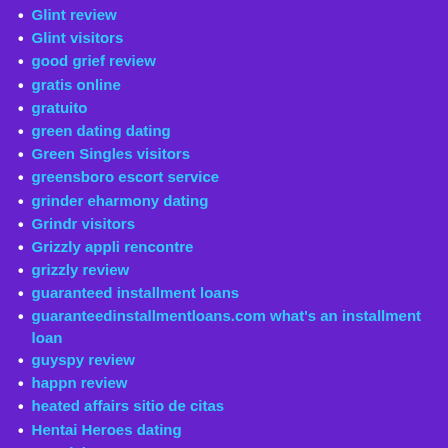Glint review
Glint visitors
good grief review
gratis online
gratuito
green dating dating
Green Singles visitors
greensboro escort service
grinder eharmony dating
Grindr visitors
Grizzly appli rencontre
grizzly review
guaranteed installment loans
guaranteedinstallmentloans.com what's an installment loan
guyspy review
happn review
heated affairs sitio de citas
Hentai Heroes dating
Her visitors
herpes-chat-rooms review
heterosexual dating dating